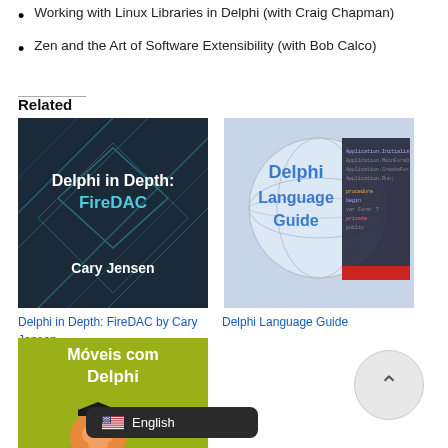Working with Linux Libraries in Delphi (with Craig Chapman)
Zen and the Art of Software Extensibility (with Bob Calco)
Related
[Figure (illustration): Book cover: Delphi in Depth: FireDAC by Cary Jensen, dark teal/blue geometric background]
Delphi in Depth: FireDAC by Cary Jensen
[Figure (illustration): Book cover: Delphi Language Guide, globe with code overlay]
Delphi Language Guide
[Figure (illustration): Book cover: Aplicações móveis com Delphi, yellow-green background with tiger mascot]
Aplicações móveis com Delphi